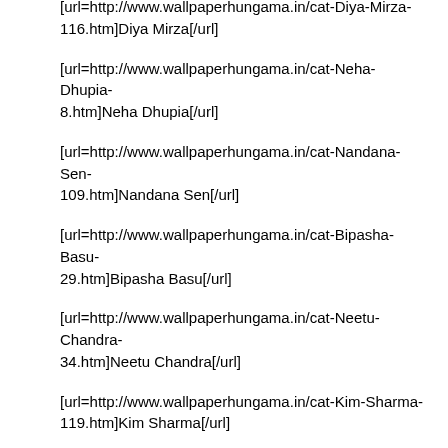[url=http://www.wallpaperhungama.in/cat-Diya-Mirza-116.htm]Diya Mirza[/url]
[url=http://www.wallpaperhungama.in/cat-Neha-Dhupia-8.htm]Neha Dhupia[/url]
[url=http://www.wallpaperhungama.in/cat-Nandana-Sen-109.htm]Nandana Sen[/url]
[url=http://www.wallpaperhungama.in/cat-Bipasha-Basu-29.htm]Bipasha Basu[/url]
[url=http://www.wallpaperhungama.in/cat-Neetu-Chandra-34.htm]Neetu Chandra[/url]
[url=http://www.wallpaperhungama.in/cat-Kim-Sharma-119.htm]Kim Sharma[/url]
[url=http://www.wallpaperhungama.in/cat-Zarine-Khan-123.htm]Zarine Khan[/url]